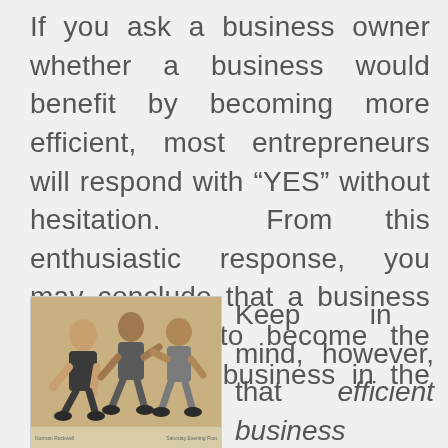If you ask a business owner whether a business would benefit by becoming more efficient, most entrepreneurs will respond with "YES" without hesitation. From this enthusiastic response, you may conclude that a business should work to become the most efficient business in the market.
[Figure (illustration): A painting-style illustration showing children playing or running, possibly a Norman Rockwell-style artwork.]
Keep in mind, however, that efficient business operations will always be an